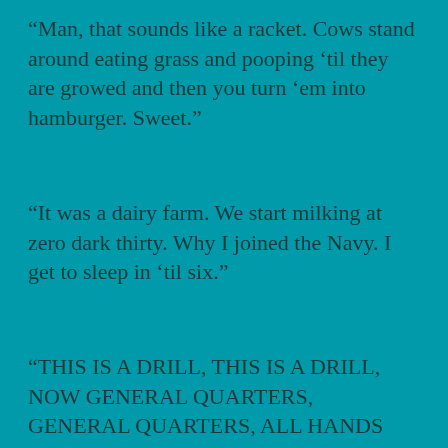“Man, that sounds like a racket. Cows stand around eating grass and pooping ‘til they are growed and then you turn ‘em into hamburger. Sweet.”
“It was a dairy farm. We start milking at zero dark thirty. Why I joined the Navy. I get to sleep in ‘til six.”
“THIS IS A DRILL, THIS IS A DRILL, NOW GENERAL QUARTERS, GENERAL QUARTERS, ALL HANDS MAN YOUR BATTLE STATIONS. SET CONDITION ZEBRA